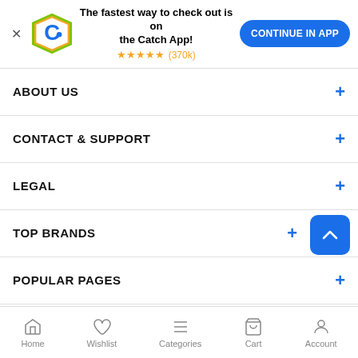[Figure (infographic): App download banner with Catch logo, star rating, and Continue in App button]
ABOUT US +
CONTACT & SUPPORT +
LEGAL +
TOP BRANDS +
POPULAR PAGES +
STAY IN TOUCH
Home  Wishlist  Categories  Cart  Account